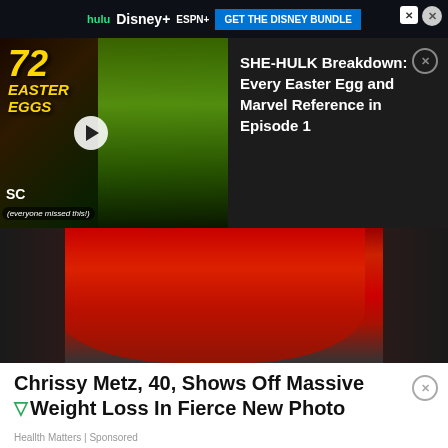[Figure (screenshot): Disney bundle top advertisement bar with hulu, Disney+, ESPN+ logos and 'GET THE DISNEY BUNDLE' blue button]
[Figure (screenshot): YouTube video thumbnail showing '72 EASTER EGGS' text in yellow over She-Hulk green character image, with SC branding and '(everyone missed this!)' text. Right panel shows dark background with white text: 'SHE-HULK Breakdown: Every Easter Egg and Marvel Reference in Episode 1']
[Figure (photo): Person in red off-shoulder dress on red carpet, showing Chrissy Metz article photo]
Chrissy Metz, 40, Shows Off Massive Weight Loss In Fierce New Photo
Heallth Matters | Sponsored
[Figure (screenshot): Macy's advertisement: 'KISS BORING LIPS GOODBYE' with red lipstick photo, 'SHOP NOW' button and Macy's star logo]